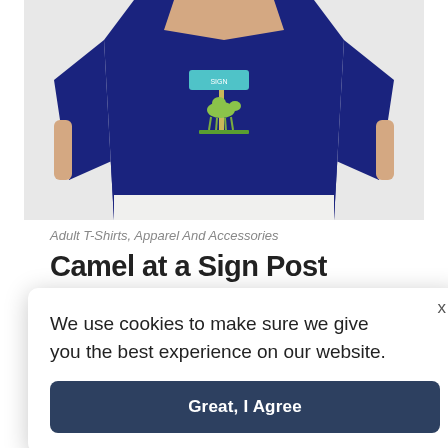[Figure (photo): Person wearing a navy blue t-shirt with a camel at a sign post graphic on the chest. The photo is cropped to show the torso only, with white shorts visible at the bottom.]
Adult T-Shirts, Apparel And Accessories
Camel at a Sign Post
We use cookies to make sure we give you the best experience on our website.
Great, I Agree
XL /
XXL / 3XL Price includes shipping.